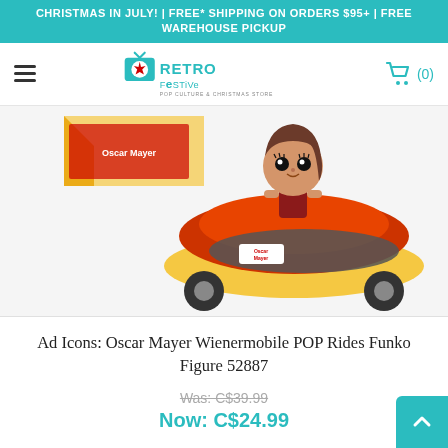CHRISTMAS IN JULY! | FREE* SHIPPING ON ORDERS $95+ | FREE WAREHOUSE PICKUP
[Figure (logo): RetroFestive Pop Culture & Christmas Store logo with maple leaf icon and TV graphic]
[Figure (photo): Funko POP Rides figure of woman driving Oscar Mayer Wienermobile vehicle, orange and yellow hot dog car]
Ad Icons: Oscar Mayer Wienermobile POP Rides Funko Figure 52887
Was: C$39.99
Now: C$24.99